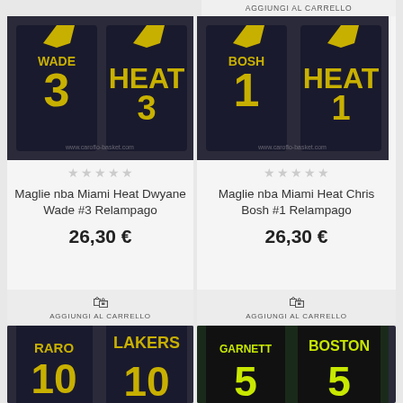AGGIUNGI AL CARRELLO
[Figure (photo): NBA Miami Heat #3 Wade black jersey, front and back view]
★★★★★
Maglie nba Miami Heat Dwyane Wade #3 Relampago
26,30 €
AGGIUNGI AL CARRELLO
[Figure (photo): NBA Miami Heat #1 Bosh black jersey, front and back view]
★★★★★
Maglie nba Miami Heat Chris Bosh #1 Relampago
26,30 €
AGGIUNGI AL CARRELLO
[Figure (photo): NBA Lakers #10 Raro black jersey, front and back view]
[Figure (photo): NBA Boston #5 Garnett black jersey, front and back view]